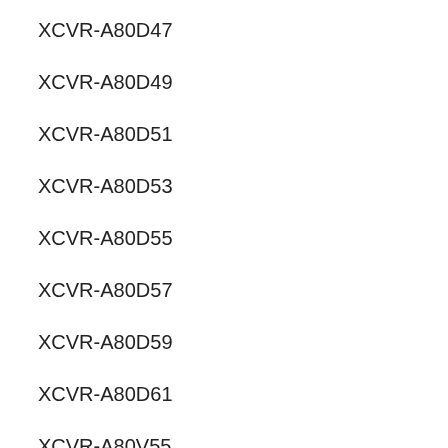XCVR-A80D47
XCVR-A80D49
XCVR-A80D51
XCVR-A80D53
XCVR-A80D55
XCVR-A80D57
XCVR-A80D59
XCVR-A80D61
XCVR-A80V55